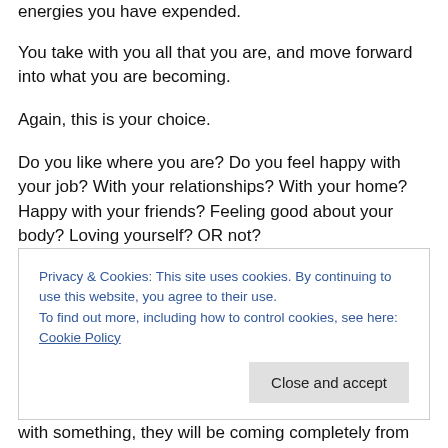energies you have expended.
You take with you all that you are, and move forward into what you are becoming.
Again, this is your choice.
Do you like where you are? Do you feel happy with your job? With your relationships? With your home? Happy with your friends? Feeling good about your body? Loving yourself? OR not?
Many questions … the deep stuff!
Privacy & Cookies: This site uses cookies. By continuing to use this website, you agree to their use.
To find out more, including how to control cookies, see here: Cookie Policy
with something, they will be coming completely from